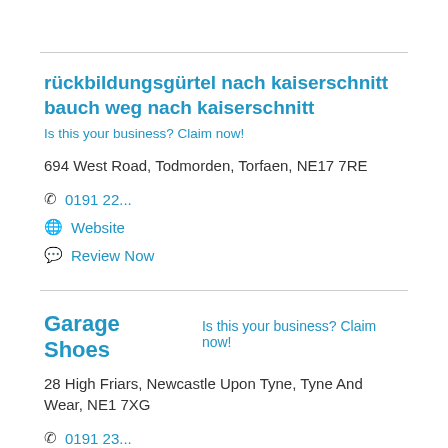rückbildungsgürtel nach kaiserschnitt bauch weg nach kaiserschnitt
Is this your business? Claim now!
694 West Road, Todmorden, Torfaen, NE17 7RE
0191 22...
Website
Review Now
Garage Shoes
Is this your business? Claim now!
28 High Friars, Newcastle Upon Tyne, Tyne And Wear, NE1 7XG
0191 23...
Review Now